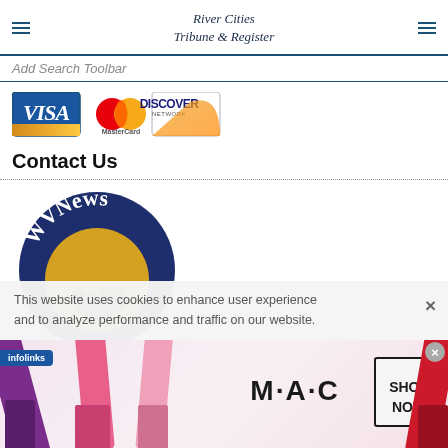River Cities Tribune & Register
Add Search Toolbar
[Figure (logo): Payment method logos: Visa, MasterCard, Discover Network]
Contact Us
[Figure (logo): WVNews circular logo with dark blue background and gold state silhouette]
This website uses cookies to enhance user experience and to analyze performance and traffic on our website.
[Figure (photo): MAC cosmetics advertisement showing lipsticks with SHOP NOW button]